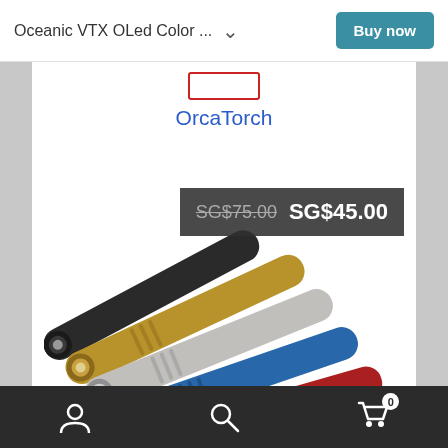Oceanic VTX OLed Color ... Buy now
OrcaTorch
[Figure (photo): Five OrcaTorch dive flashlights arranged diagonally, in colors: black, yellow/gold, silver/grey, blue, and red]
SG$75.00  SG$45.00
User icon | Search icon | Cart icon (0)